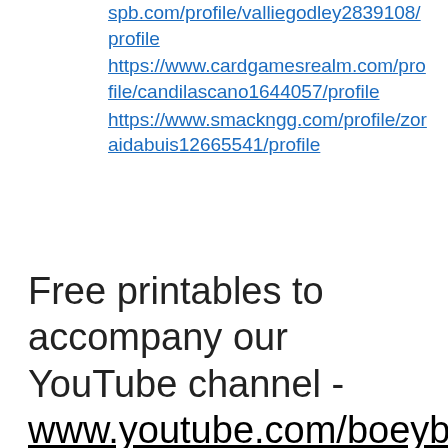spb.com/profile/valliegodley2839108/profile https://www.cardgamesrealm.com/profile/candilascano1644057/profile https://www.smackngg.com/profile/zoraidabuis12665541/profile
Free printables to accompany our YouTube channel - www.youtube.com/boeybear